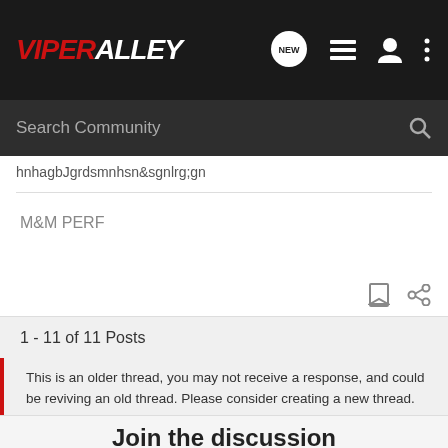ViperAlley
Search Community
hnhagbJgrdsmnhsn&sgnlrg;gn
M&M PERF
1 - 11 of 11 Posts
This is an older thread, you may not receive a response, and could be reviving an old thread. Please consider creating a new thread.
Join the discussion